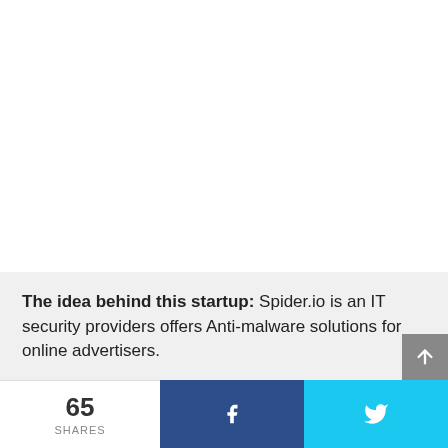The idea behind this startup: Spider.io is an IT security providers offers Anti-malware solutions for online advertisers.
65 SHARES